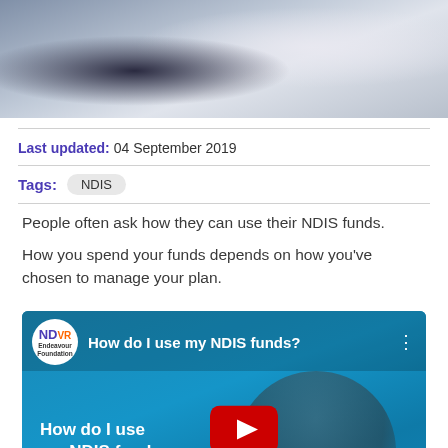[Figure (photo): Hero image showing a person's hands holding a document with a laptop in the background, muted blue-grey tones]
Last updated: 04 September 2019
Tags: NDIS
People often ask how they can use their NDIS funds.
How you spend your funds depends on how you've chosen to manage your plan.
[Figure (screenshot): YouTube video thumbnail for 'How do I use my NDIS funds?' by Endeavour Foundation, showing a play button overlay on a blue background with a person's face partially visible]